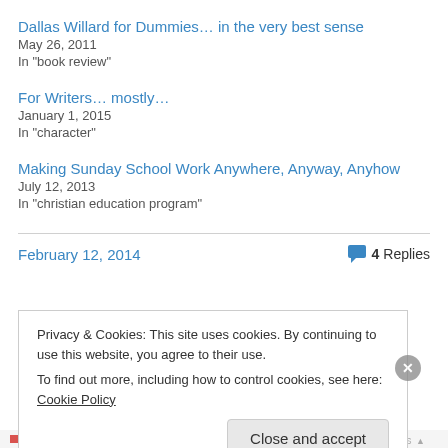Dallas Willard for Dummies… in the very best sense
May 26, 2011
In "book review"
For Writers… mostly…
January 1, 2015
In "character"
Making Sunday School Work Anywhere, Anyway, Anyhow
July 12, 2013
In "christian education program"
February 12, 2014   💬 4 Replies
Privacy & Cookies: This site uses cookies. By continuing to use this website, you agree to their use.
To find out more, including how to control cookies, see here: Cookie Policy
Close and accept